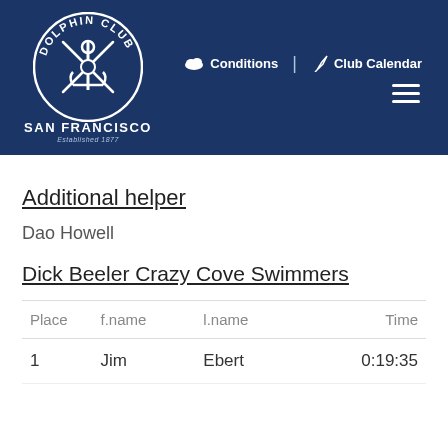[Figure (logo): Dolphin Club San Francisco logo — circular emblem with crossed oars and anchor on navy background, text SAN FRANCISCO and Established 1877]
Conditions | Club Calendar
Additional helper
Dao Howell
Dick Beeler Crazy Cove Swimmers
| Place | f.name | l.name | Time |
| --- | --- | --- | --- |
| 1 | Jim | Ebert | 0:19:35 |